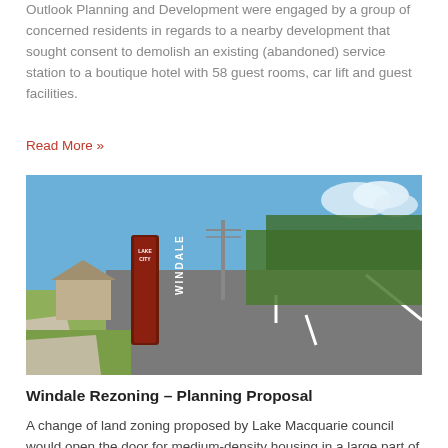Outlook Planning and Development were engaged by a group of concerned residents in regards to a nearby development that sought consent to demolish an existing (abandoned) service station to a boutique hotel with 58 guest rooms, car lift and guest facilities.
Read More »
[Figure (photo): Photo of a road in Windale with a red and brown directional sign reading 'WINDALE LAKE CITY' on the left side. Trees line the right side of the road under a blue sky.]
Windale Rezoning – Planning Proposal
A change of land zoning proposed by Lake Macquarie council would open the door for medium-density housing in a large part of Windale.